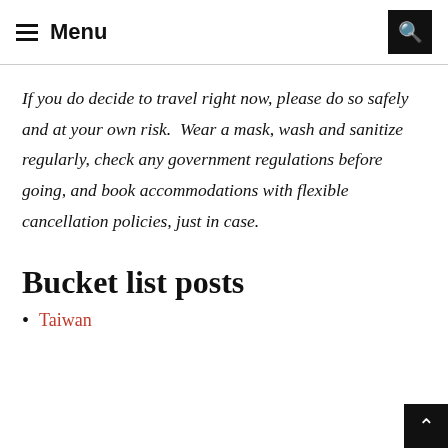Menu
If you do decide to travel right now, please do so safely and at your own risk.  Wear a mask, wash and sanitize regularly, check any government regulations before going, and book accommodations with flexible cancellation policies, just in case.
Bucket list posts
Taiwan